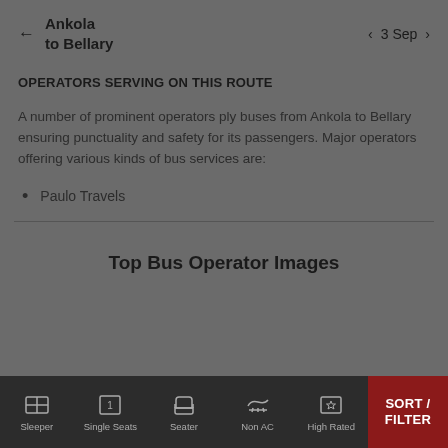Ankola to Bellary — 3 Sep
OPERATORS SERVING ON THIS ROUTE
A number of prominent operators ply buses from Ankola to Bellary ensuring punctuality and safety for its passengers. Major operators offering various kinds of bus services are:
Paulo Travels
Top Bus Operator Images
Sleeper | Single Seats | Seater | Non AC | High Rated | SORT / FILTER